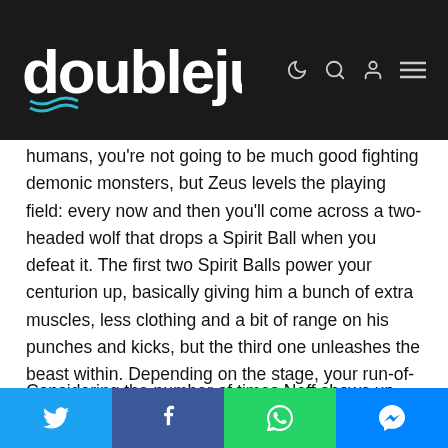doublejump (logo with navigation icons)
humans, you're not going to be much good fighting demonic monsters, but Zeus levels the playing field: every now and then you'll come across a two-headed wolf that drops a Spirit Ball when you defeat it. The first two Spirit Balls power your centurion up, basically giving him a bunch of extra muscles, less clothing and a bit of range on his punches and kicks, but the third one unleashes the beast within. Depending on the stage, your run-of-the-mill centurion transforms into a werewolf, an electric weredragon, a werebear, a weretiger, or a golden werewolf, ready to fight Neff — who transforms into a monster as well, albeit considerably more disgusting — in order to clear the stage.
Considering the number of times Neff shows up when you're
Share buttons: Twitter, Facebook, WhatsApp, Messenger